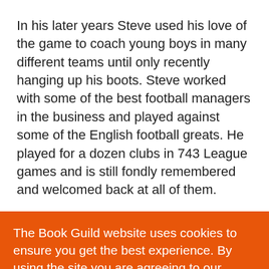In his later years Steve used his love of the game to coach young boys in many different teams until only recently hanging up his boots. Steve worked with some of the best football managers in the business and played against some of the English football greats. He played for a dozen clubs in 743 League games and is still fondly remembered and welcomed back at all of them.
The Book Guild website uses cookies to ensure you get the best experience. By using the site you are agreeing to our cookie policy More info
Got it!